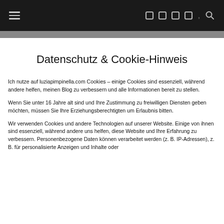Navigation bar with hamburger menu and social/search icons
Datenschutz & Cookie-Hinweis
Ich nutze auf luziapimpinella.com Cookies – einige Cookies sind essenziell, während andere helfen, meinen Blog zu verbessern und alle Informationen bereit zu stellen.
Wenn Sie unter 16 Jahre alt sind und Ihre Zustimmung zu freiwilligen Diensten geben möchten, müssen Sie Ihre Erziehungsberechtigten um Erlaubnis bitten.
Wir verwenden Cookies und andere Technologien auf unserer Website. Einige von ihnen sind essenziell, während andere uns helfen, diese Website und Ihre Erfahrung zu verbessern. Personenbezogene Daten können verarbeitet werden (z. B. IP-Adressen), z. B. für personalisierte Anzeigen und Inhalte oder